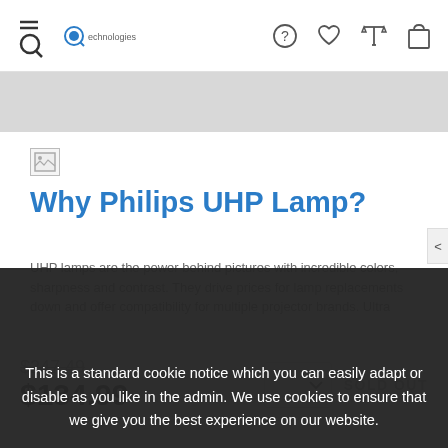Navigation bar with hamburger/search icon, logo, and icons for help, wishlist, compare, cart
[Figure (screenshot): Gray banner area below navigation]
[Figure (photo): Broken image placeholder icon]
Why Philips UHP Lamp?
UHP lamps are the power behind pictures with incredible colors, sharpness and contrast. They drive prices for lamp replacements down and offer compatibility for multiple projector brands. Ultra High Performance means ideal lifetime.
This is a standard cookie notice which you can easily adapt or disable as you like in the admin. We use cookies to ensure that we give you the best experience on our website.
Perfect Stable color spectrum and picture quality over the longest lifetime.
Outstanding brightness thanks to ultra-short arc lighting
PRIVACY POLICY   ACCEPT ✓
$247.49
$134.99
SOLD OUT